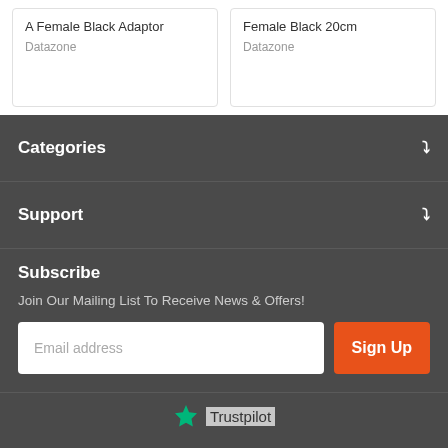A Female Black Adaptor
Datazone
Female Black 20cm
Datazone
Categories
Support
Subscribe
Join Our Mailing List To Receive News & Offers!
Email address
Sign Up
[Figure (logo): Trustpilot logo with green star and Trustpilot text]